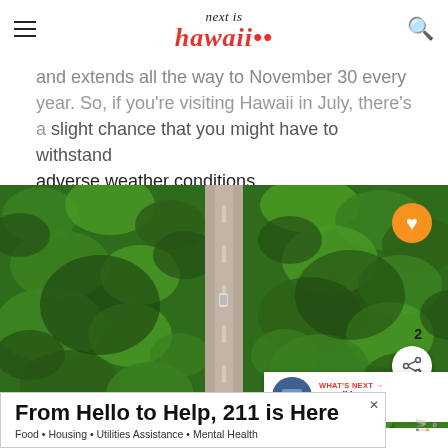next is hawaii
and extends all the way to November 30 every year. So, if you're visiting Hawaii in July, there's a slight chance that you might have to withstand adverse weather conditions.
[Figure (photo): Aerial view of a road running through a dense tropical palm forest, with a car visible on the road. Social sharing buttons (heart/like in orange, share icon in white) on the right side. A 'What's Next' teaser box in bottom right corner showing 'Hawaii in September:...']
From Hello to Help, 211 is Here
Food • Housing • Utilities Assistance • Mental Health